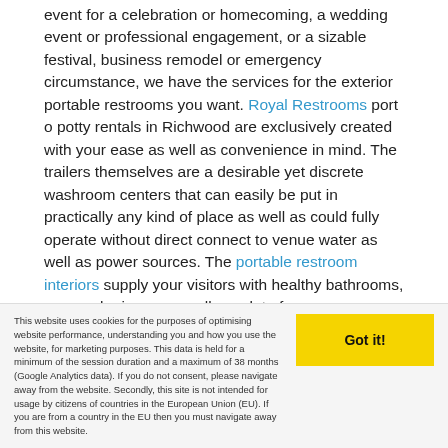event for a celebration or homecoming, a wedding event or professional engagement, or a sizable festival, business remodel or emergency circumstance, we have the services for the exterior portable restrooms you want. Royal Restrooms port o potty rentals in Richwood are exclusively created with your ease as well as convenience in mind. The trailers themselves are a desirable yet discrete washroom centers that can easily be put in practically any kind of place as well as could fully operate without direct connect to venue water as well as power sources. The portable restroom interiors supply your visitors with healthy bathrooms, personal privacy, as well as a lot of area.
This website uses cookies for the purposes of optimising website performance, understanding you and how you use the website, for marketing purposes. This data is held for a minimum of the session duration and a maximum of 38 months (Google Analytics data). If you do not consent, please navigate away from the website. Secondly, this site is not intended for usage by citizens of countries in the European Union (EU). If you are from a country in the EU then you must navigate away from this website.